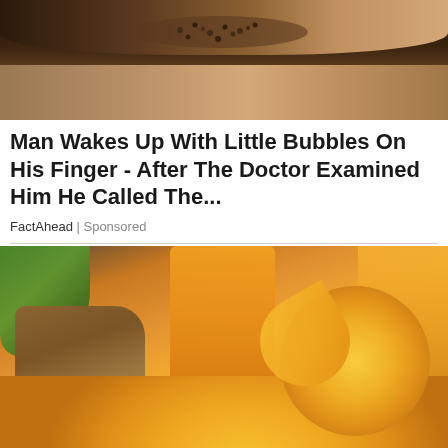[Figure (photo): Close-up photo of a human finger with small bubble-like bumps/blisters and seeds visible on skin, dark background]
Man Wakes Up With Little Bubbles On His Finger - After The Doctor Examined Him He Called The...
FactAhead | Sponsored
[Figure (photo): Photo of orange juice in a glass with sliced oranges, mango pieces, ginger root, and green herbs/leaves on a wooden surface]
The 7 Key Ingredients That Can Help Stop Hair